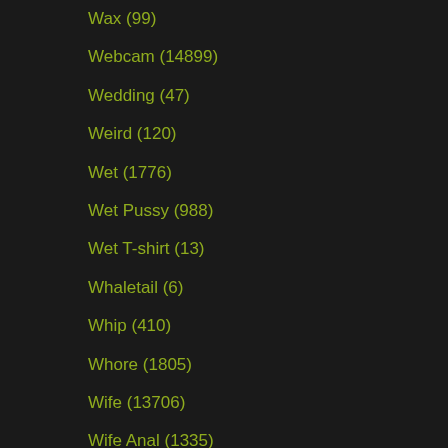Wax (99)
Webcam (14899)
Wedding (47)
Weird (120)
Wet (1776)
Wet Pussy (988)
Wet T-shirt (13)
Whaletail (6)
Whip (410)
Whore (1805)
Wife (13706)
Wife Anal (1335)
Wife Blowjob (2026)
Wife Gangbang (216)
Wife Handjob (215)
Wife Homemade (1077)